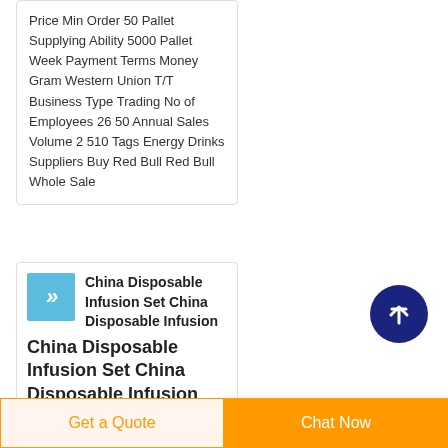Price Min Order 50 Pallet Supplying Ability 5000 Pallet Week Payment Terms Money Gram Western Union T/T Business Type Trading No of Employees 26 50 Annual Sales Volume 2 510 Tags Energy Drinks Suppliers Buy Red Bull Red Bull Whole Sale
[Figure (other): Scroll-to-top button: dark navy blue circle with white upward arrow icon]
China Disposable Infusion Set China Disposable Infusion
China Disposable Infusion Set China Disposable Infusion Set
Get a Quote
Chat Now